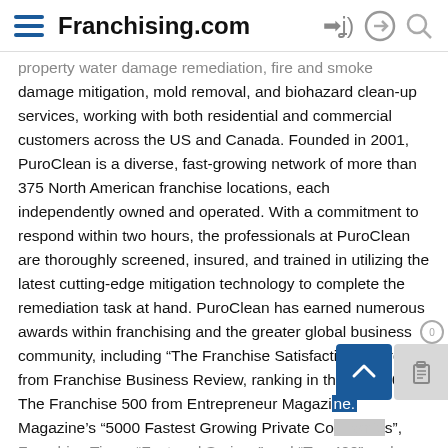Franchising.com
property water damage remediation, fire and smoke damage mitigation, mold removal, and biohazard clean-up services, working with both residential and commercial customers across the US and Canada. Founded in 2001, PuroClean is a diverse, fast-growing network of more than 375 North American franchise locations, each independently owned and operated. With a commitment to respond within two hours, the professionals at PuroClean are thoroughly screened, insured, and trained in utilizing the latest cutting-edge mitigation technology to complete the remediation task at hand. PuroClean has earned numerous awards within franchising and the greater global business community, including “The Franchise Satisfaction Award” from Franchise Business Review, ranking in the top 100 on The Franchise 500 from Entrepreneur Magazine. Magazine’s “5000 Fastest Growing Private Co[mpanie]s”, and Franchise Times “Fast and Serious” and “Top 400” and